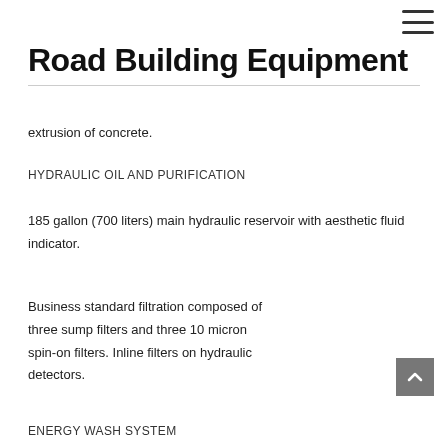≡
Road Building Equipment
extrusion of concrete.
HYDRAULIC OIL AND PURIFICATION
185 gallon (700 liters) main hydraulic reservoir with aesthetic fluid indicator.
Business standard filtration composed of three sump filters and three 10 micron spin-on filters. Inline filters on hydraulic detectors.
ENERGY WASH SYSTEM